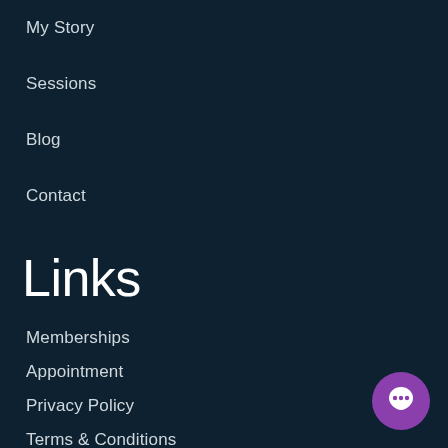My Story
Sessions
Blog
Contact
Links
Memberships
Appointment
Privacy Policy
Terms & Conditions
Disclaimer
[Figure (illustration): Purple circular chat bubble icon in the bottom right corner]